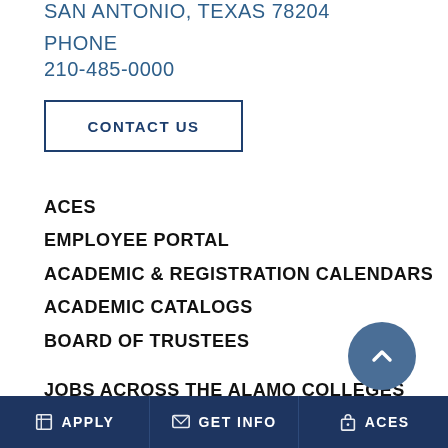SAN ANTONIO, TEXAS 78204
PHONE
210-485-0000
CONTACT US
ACES
EMPLOYEE PORTAL
ACADEMIC & REGISTRATION CALENDARS
ACADEMIC CATALOGS
BOARD OF TRUSTEES
JOBS ACROSS THE ALAMO COLLEGES
COMPLIANCE & TRANSPARENCY
APPLY  GET INFO  ACES